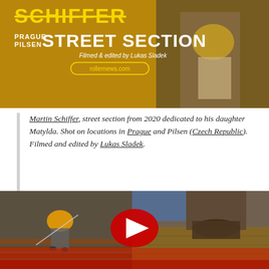[Figure (screenshot): Video thumbnail showing 'Martin Schiffer Prague Pilsen Street Section' with text 'Filmed & edited by Lukas Sladek' and 'rollernews.com'. Shows a person in yellow shirt and beige pants standing near a doorway, golden/amber background.]
Martin Schiffer, street section from 2020 dedicated to his daughter Matylda. Shot on locations in Prague and Pilsen (Czech Republic). Filmed and edited by Lukas Sladek.
[Figure (screenshot): YouTube video thumbnail showing inline skater doing a trick on stairs/ramp on left side, and close-up of rollerblades on wooden floor on right side. Red YouTube play button in center. Red gradient at bottom.]